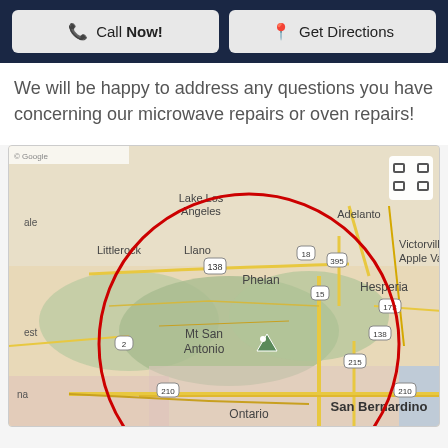[Figure (other): Two buttons: 'Call Now!' with phone icon and 'Get Directions' with map pin icon on dark navy background]
We will be happy to address any questions you have concerning our microwave repairs or oven repairs!
[Figure (map): Google Maps screenshot showing service area around Mt San Antonio / San Bernardino region with a red circle indicating service radius. Locations visible: Lake Los Angeles, Adelanto, Victorville, Apple Valley, Littlerock, Llano, Phelan, Hesperia, Mt San Antonio, Ontario, San Bernardino. Roads/highways 138, 18, 395, 2, 15, 173, 215, 210 visible.]